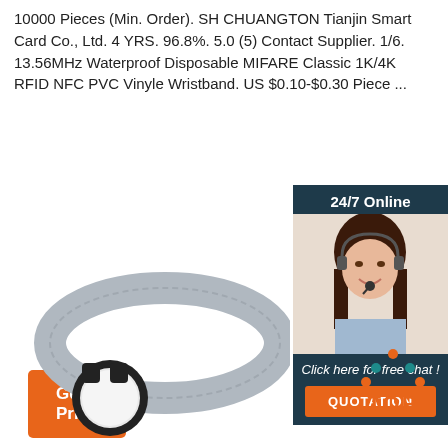10000 Pieces (Min. Order). SH CHUANGTON Tianjin Smart Card Co., Ltd. 4 YRS. 96.8%. 5.0 (5) Contact Supplier. 1/6. 13.56MHz Waterproof Disposable MIFARE Classic 1K/4K RFID NFC PVC Vinyle Wristband. US $0.10-$0.30 Piece ...
[Figure (illustration): Orange 'Get Price' button]
[Figure (photo): Customer service representative with headset, '24/7 Online' banner, 'Click here for free chat!' text, and orange QUOTATION button on dark teal background]
[Figure (photo): Gray RFID NFC wristband with circular tag housing, shown partially on white background]
[Figure (illustration): Orange and teal 'TOP' badge with dots above]